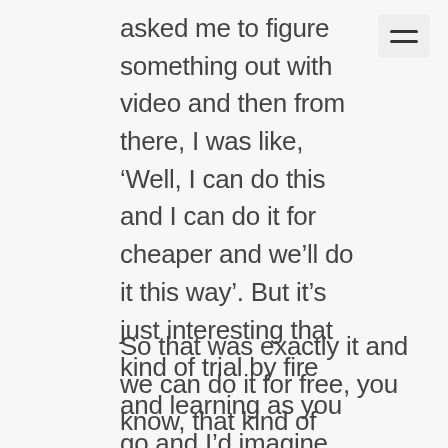asked me to figure something out with video and then from there, I was like, ‘Well, I can do this and I can do it for cheaper and we’ll do it this way’. But it’s just interesting that kind of trial by fire and learning as you go and I’d imagine 15 years ago website design, website and SEO and all that sort of stuff was a dark arts that nobody could wrap their head around. Get the young lad to do it.
So that was exactly it and we can do it for free, you know, that kind of